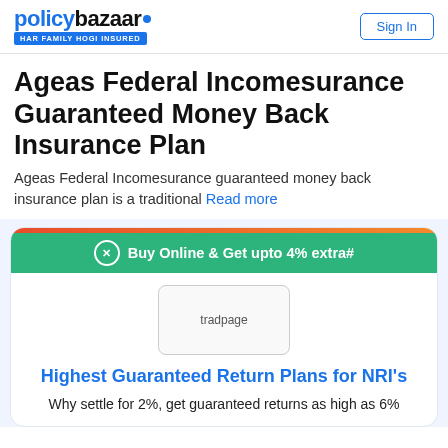policybazaar.com HAR FAMILY HOGI INSURED | Sign In
Ageas Federal Incomesurance Guaranteed Money Back Insurance Plan
Ageas Federal Incomesurance guaranteed money back insurance plan is a traditional Read more
[Figure (infographic): Promotional card with green banner 'Buy Online & Get upto 4% extra#', tradpage image placeholder, blue headline 'Highest Guaranteed Return Plans for NRI's', and subtext 'Why settle for 2%, get guaranteed returns as high as 6%']